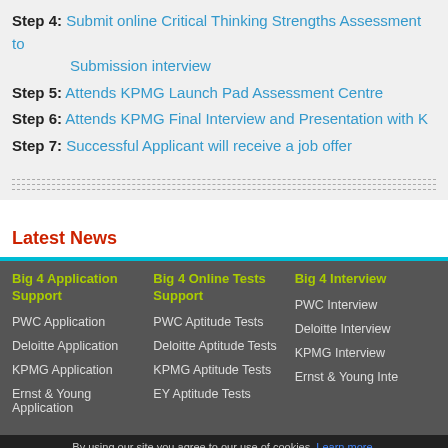Step 4: Submit online Critical Thinking Strengths Assessment to Submission interview
Step 5: Attends KPMG Launch Pad Assessment Centre
Step 6: Attends KPMG Final Interview and Presentation with K...
Step 7: Successful Applicant will receive a job offer
Latest News
Big 4 Application Support
Big 4 Online Tests Support
Big 4 Interview
PWC Application
PWC Aptitude Tests
PWC Interview
Deloitte Application
Deloitte Aptitude Tests
Deloitte Interview
KPMG Application
KPMG Aptitude Tests
KPMG Interview
Ernst & Young Application
EY Aptitude Tests
Ernst & Young Inte...
By using our site you agree to our use of cookies. Learn more. I accept cookies from this site. Continue